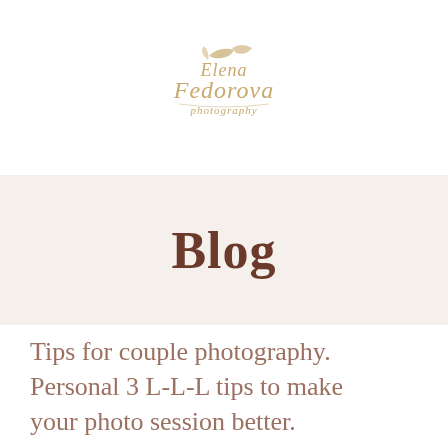[Figure (logo): Elena Fedorova Photography logo in gold/tan cursive script with decorative flourishes]
Blog
Tips for couple photography. Personal 3 L-L-L tips to make your photo session better.